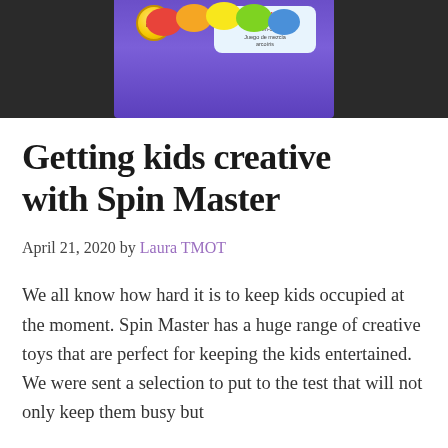[Figure (photo): Partial top view of a Play-Doh or similar toy product box with purple packaging and colorful branding against a dark background]
Getting kids creative with Spin Master
April 21, 2020 by Laura TMOT
We all know how hard it is to keep kids occupied at the moment. Spin Master has a huge range of creative toys that are perfect for keeping the kids entertained. We were sent a selection to put to the test that will not only keep them busy but